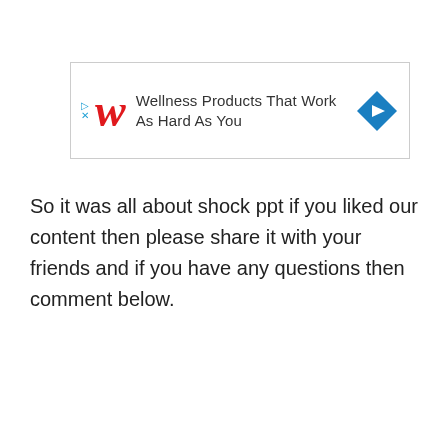[Figure (other): Advertisement banner for Walgreens: red cursive W logo, text 'Wellness Products That Work As Hard As You', blue diamond navigation icon on the right, with play and close controls on the left.]
So it was all about shock ppt if you liked our content then please share it with your friends and if you have any questions then comment below.